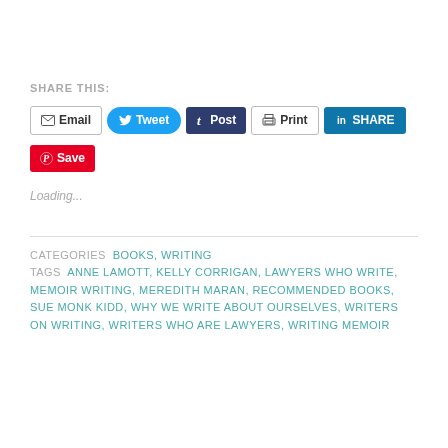SHARE THIS:
[Figure (screenshot): Social share buttons: Email, Tweet, Post, Print, Share, Save]
Loading...
CATEGORIES  BOOKS, WRITING
TAGS  ANNE LAMOTT, KELLY CORRIGAN, LAWYERS WHO WRITE, MEMOIR WRITING, MEREDITH MARAN, RECOMMENDED BOOKS, SUE MONK KIDD, WHY WE WRITE ABOUT OURSELVES, WRITERS ON WRITING, WRITERS WHO ARE LAWYERS, WRITING MEMOIR